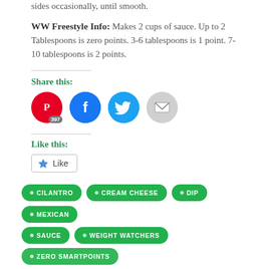sides occasionally, until smooth.
WW Freestyle Info: Makes 2 cups of sauce. Up to 2 Tablespoons is zero points. 3-6 tablespoons is 1 point. 7-10 tablespoons is 2 points.
Share this:
[Figure (infographic): Social share buttons: Pinterest (red circle with P icon, badge showing 397), Facebook (blue circle with f icon), Twitter (blue circle with bird icon), Email (gray circle with envelope icon)]
Like this:
[Figure (infographic): WordPress Like button widget with star icon and 'Like' text, followed by 'Be the first to like this.' text]
CILANTRO
CREAM CHEESE
DIP
MEXICAN
SAUCE
WEIGHT WATCHERS
ZERO SMARTPOINTS